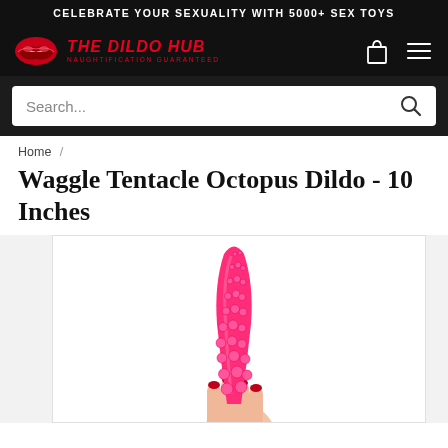CELEBRATE YOUR SEXUALITY WITH 5000+ SEX TOYS
[Figure (screenshot): Website navigation bar with The Dildo Hub logo (lips icon, red italic text 'THE DILDO HUB', tagline 'NAUGHTIFICATION GUARANTEED'), shopping bag icon, and hamburger menu icon on black background]
Search...
Home /
Waggle Tentacle Octopus Dildo - 10 Inches
[Figure (photo): Hot pink tentacle-shaped octopus dildo being held in a hand with red manicured fingernails, against white background. The toy is conical with round bumps/suckers along its surface.]